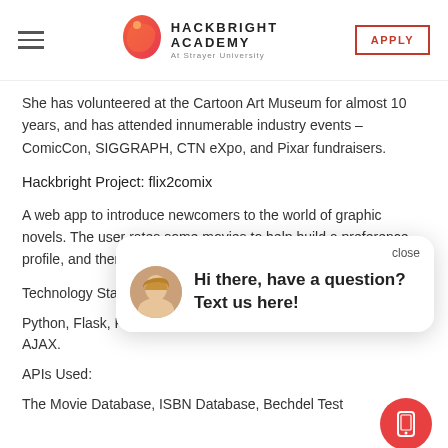Hackbright Academy At Strayer University | APPLY
She has volunteered at the Cartoon Art Museum for almost 10 years, and has attended innumerable industry events – ComicCon, SIGGRAPH, CTN eXpo, and Pixar fundraisers.
Hackbright Project: flix2comix
A web app to introduce newcomers to the world of graphic novels. The user rates some movies to help build a preference profile, and then the app finds a comic that most closely ma
Technology Sta
Python, Flask, P... AJAX.
APIs Used:
The Movie Database, ISBN Database, Bechdel Test
[Figure (other): Chat popup overlay with avatar of a woman with blonde hair, text 'Hi there, have a question? Text us here!' and a close button. Also a red circular button with phone/device icon at bottom right.]